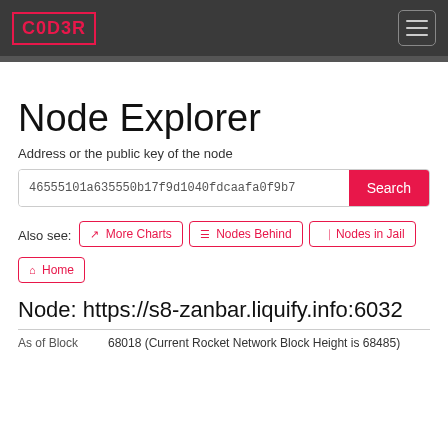C0D3R
Node Explorer
Address or the public key of the node
46555101a635550b17f9d1040fdcaafa0f9b7...  Search
Also see:  More Charts  Nodes Behind  Nodes in Jail  Home
Node: https://s8-zanbar.liquify.info:6032
As of Block   68018 (Current Rocket Network Block Height is 68485)